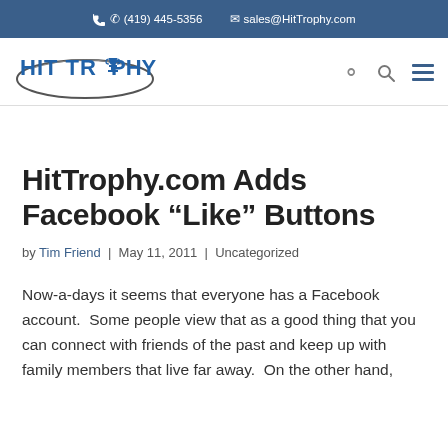(419) 445-5356  sales@HitTrophy.com
[Figure (logo): HitTrophy logo with oval swoosh and blue bold text]
HitTrophy.com Adds Facebook “Like” Buttons
by Tim Friend | May 11, 2011 | Uncategorized
Now-a-days it seems that everyone has a Facebook account.  Some people view that as a good thing that you can connect with friends of the past and keep up with family members that live far away.  On the other hand,